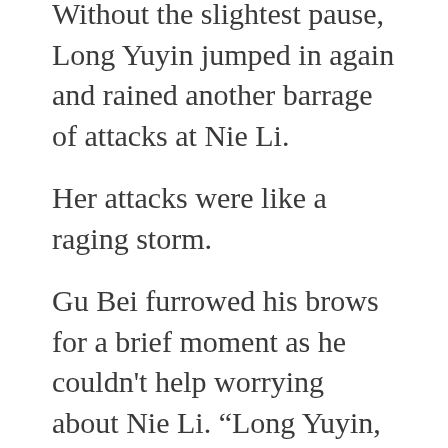Without the slightest pause, Long Yuyin jumped in again and rained another barrage of attacks at Nie Li.
Her attacks were like a raging storm.
Gu Bei furrowed his brows for a brief moment as he couldn't help worrying about Nie Li. “Long Yuyin, that woman is really fighting with her life on the line!” He prepared to jump in at any